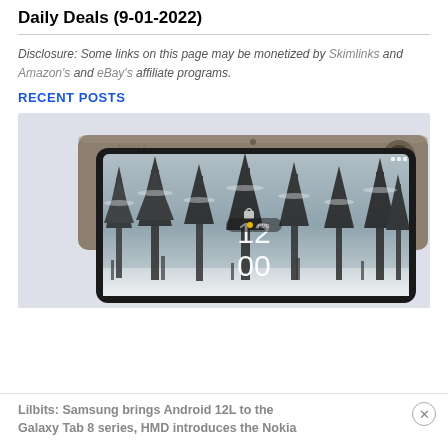Daily Deals (9-01-2022)
Disclosure: Some links on this page may be monetized by Skimlinks and Amazon's and eBay's affiliate programs.
RECENT POSTS
[Figure (photo): Two Nokia tablets shown back-to-back. The front tablet displays a snowy forest lock screen with time 12:00. The back tablet shows the dark grey rear casing with camera.]
Lilbits: Samsung brings Android 12L to the Galaxy Tab 8 series, HMD introduces the Nokia